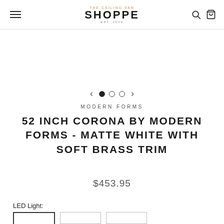The Ceiling Fan SHOPPE est. 2005
[Figure (other): Carousel navigation: left arrow, three dots (first filled, two empty), right arrow]
MODERN FORMS
52 INCH CORONA BY MODERN FORMS - MATTE WHITE WITH SOFT BRASS TRIM
$453.95
LED Light:
[Figure (other): Three option selector boxes for LED Light variants, first selected]